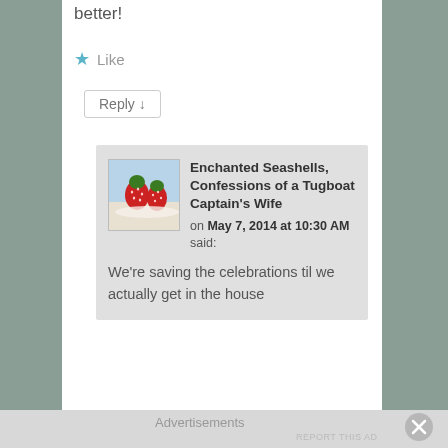better!
★ Like
Reply ↓
Enchanted Seashells, Confessions of a Tugboat Captain's Wife on May 7, 2014 at 10:30 AM said:
We're saving the celebrations til we actually get in the house
Advertisements